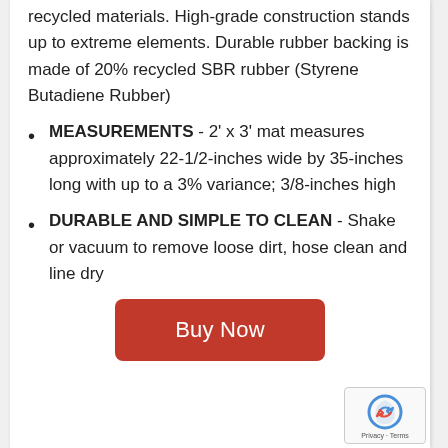recycled materials. High-grade construction stands up to extreme elements. Durable rubber backing is made of 20% recycled SBR rubber (Styrene Butadiene Rubber)
MEASUREMENTS - 2' x 3' mat measures approximately 22-1/2-inches wide by 35-inches long with up to a 3% variance; 3/8-inches high
DURABLE AND SIMPLE TO CLEAN - Shake or vacuum to remove loose dirt, hose clean and line dry